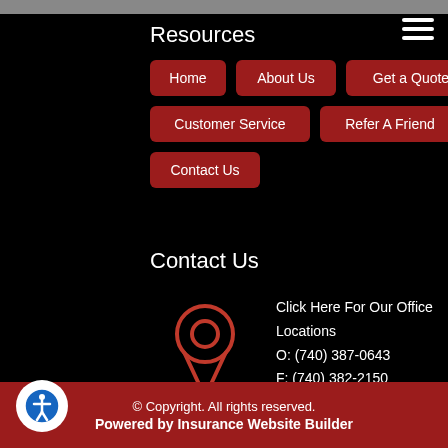Resources
Home
About Us
Get a Quote
Customer Service
Refer A Friend
Contact Us
Contact Us
[Figure (illustration): Red map/location pin icon on black background]
Click Here For Our Office Locations
O: (740) 387-0643
F: (740) 382-2150
E: info@vernehart.com
© Copyright. All rights reserved.
Powered by Insurance Website Builder